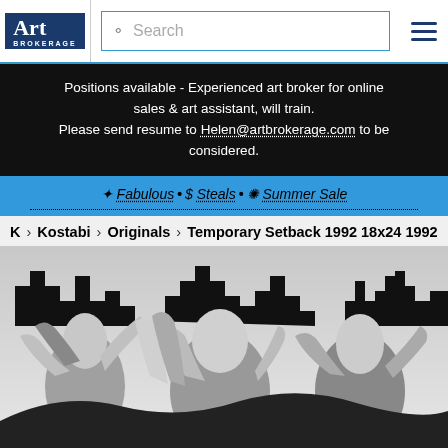Art Brokerage | Search
Positions available - Experienced art broker for online sales & art assistant, will train. Please send resume to Helen@artbrokerage.com to be considered.
✸ Fabulous • $ Steals • ❋ Summer Sale
K > Kostabi > Originals > Temporary Setback 1992 18x24 1992
[Figure (photo): Black and white painting by Kostabi titled 'Temporary Setback 1992' showing stylized faceless figures with raised arms against an urban skyline silhouette.]